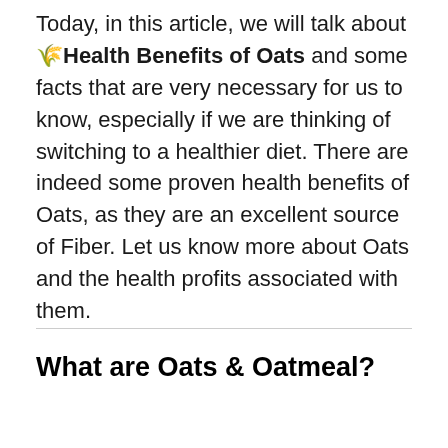Today, in this article, we will talk about 🌾Health Benefits of Oats and some facts that are very necessary for us to know, especially if we are thinking of switching to a healthier diet. There are indeed some proven health benefits of Oats, as they are an excellent source of Fiber. Let us know more about Oats and the health profits associated with them.
What are Oats & Oatmeal?